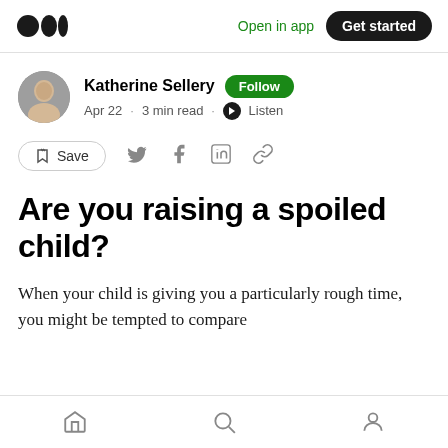Medium logo | Open in app | Get started
Katherine Sellery · Follow · Apr 22 · 3 min read · Listen
Save (social share icons)
Are you raising a spoiled child?
When your child is giving you a particularly rough time, you might be tempted to compare
Home | Search | Profile